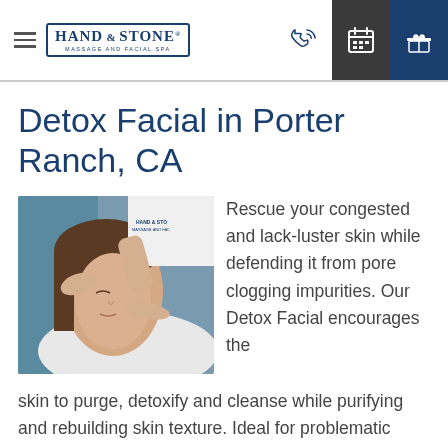Hand & Stone Massage and Facial Spa — navigation header with phone, calendar, and gift icons
Detox Facial in Porter Ranch, CA
[Figure (photo): A woman lying down receiving a facial massage from a therapist wearing a Hand & Stone uniform]
Rescue your congested and lack-luster skin while defending it from pore clogging impurities. Our Detox Facial encourages the skin to purge, detoxify and cleanse while purifying and rebuilding skin texture. Ideal for problematic acne